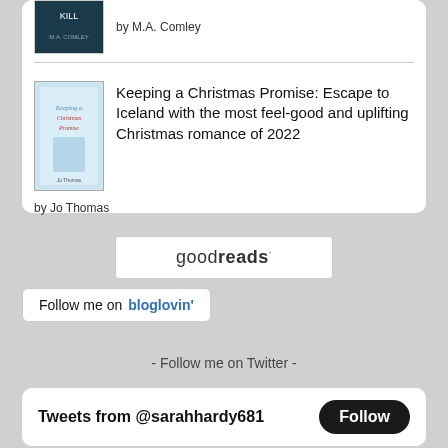[Figure (illustration): Book cover for a thriller by M.A. Comley (partial, top cut off), dark blue/teal cover]
by M.A. Comley
Keeping a Christmas Promise: Escape to Iceland with the most feel-good and uplifting Christmas romance of 2022
by Jo Thomas
[Figure (logo): goodreads logo button with border]
[Figure (logo): Follow me on bloglovin' button]
- Follow me on Twitter -
Tweets from @sarahhardy681
Follow